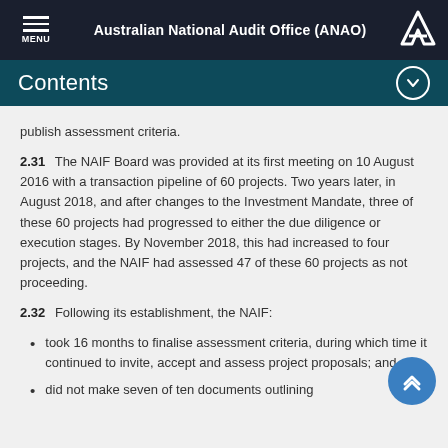Australian National Audit Office (ANAO)
Contents
publish assessment criteria.
2.31  The NAIF Board was provided at its first meeting on 10 August 2016 with a transaction pipeline of 60 projects. Two years later, in August 2018, and after changes to the Investment Mandate, three of these 60 projects had progressed to either the due diligence or execution stages. By November 2018, this had increased to four projects, and the NAIF had assessed 47 of these 60 projects as not proceeding.
2.32  Following its establishment, the NAIF:
took 16 months to finalise assessment criteria, during which time it continued to invite, accept and assess project proposals; and
did not make seven of ten documents outlining